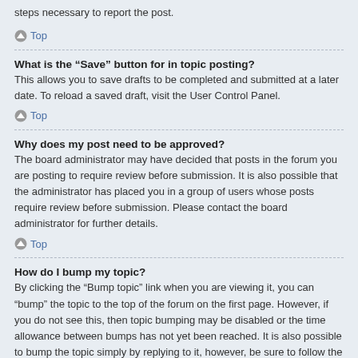steps necessary to report the post.
Top
What is the “Save” button for in topic posting?
This allows you to save drafts to be completed and submitted at a later date. To reload a saved draft, visit the User Control Panel.
Top
Why does my post need to be approved?
The board administrator may have decided that posts in the forum you are posting to require review before submission. It is also possible that the administrator has placed you in a group of users whose posts require review before submission. Please contact the board administrator for further details.
Top
How do I bump my topic?
By clicking the “Bump topic” link when you are viewing it, you can “bump” the topic to the top of the forum on the first page. However, if you do not see this, then topic bumping may be disabled or the time allowance between bumps has not yet been reached. It is also possible to bump the topic simply by replying to it, however, be sure to follow the board rules when doing so.
Top